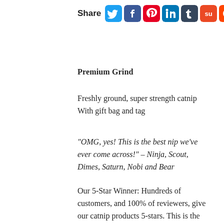[Figure (infographic): Share bar with social media icons: Twitter (blue bird), Facebook (blue f), Pinterest (red/white p), LinkedIn (blue in), Tumblr (blue t), StumbleUpon (orange su), Reddit (orange alien)]
Premium Grind
Freshly ground, super strength catnip
With gift bag and tag
“OMG, yes! This is the best nip we’ve ever come across!” – Ninja, Scout, Dimes, Saturn, Nobi and Bear
Our 5-Star Winner: Hundreds of customers, and 100% of reviewers, give our catnip products 5-stars. This is the same catnip used in all our products (including our original Catnip Joints)